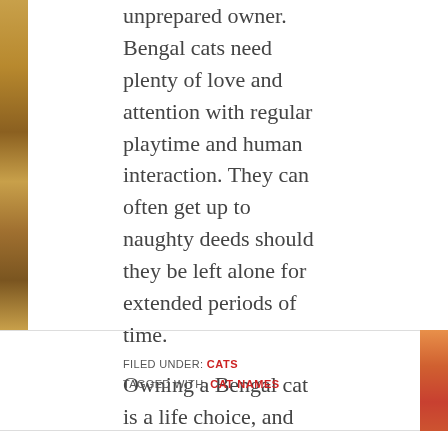[Figure (photo): Partial view of a Bengal cat image on the left side of the page]
unprepared owner. Bengal cats need plenty of love and attention with regular playtime and human interaction. They can often get up to naughty deeds should they be left alone for extended periods of time.
Owning a Bengal cat is a life choice, and owners will need to dedicate time and affection to ensure that their cat gets the home that it deserves.
FILED UNDER: CATS
TAGGED WITH: CAT NAMES